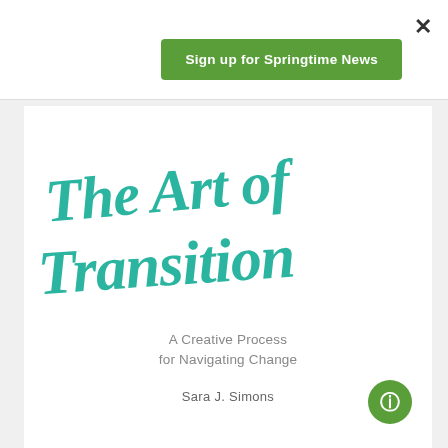×
Sign up for Springtime News
[Figure (illustration): Book cover for 'The Art of Transition: A Creative Process for Navigating Change' by Sara J. Simons. The title is written in large teal/turquoise cursive script. Subtitle in gray sans-serif. Author name in gray below.]
A Creative Process for Navigating Change
Sara J. Simons